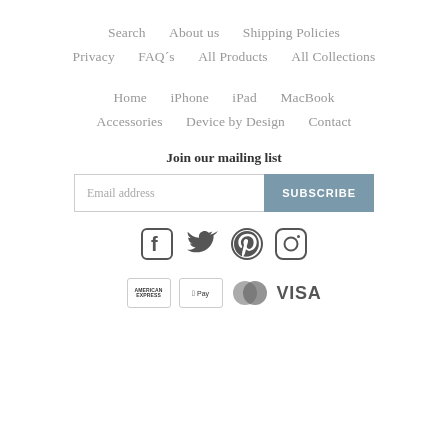Search   About us   Shipping Policies
Privacy   FAQ´s   All Products   All Collections
Home   iPhone   iPad   MacBook
Accessories   Device by Design   Contact
Join our mailing list
Email address   SUBSCRIBE
[Figure (other): Social media icons: Facebook, Twitter, Pinterest, Instagram]
[Figure (other): Payment icons: American Express, Apple Pay, Mastercard, Visa]